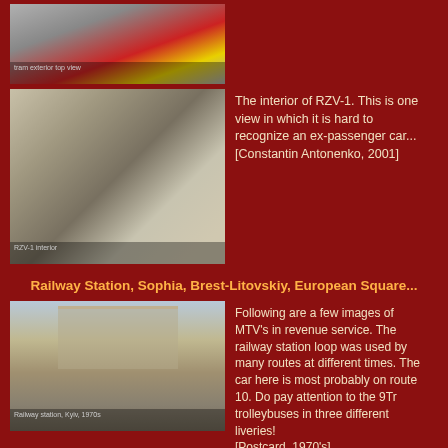[Figure (photo): Top partial view of a red and yellow tram car exterior]
[Figure (photo): Interior of RZV-1 tram car converted from passenger car, showing industrial equipment inside]
The interior of RZV-1. This is one view in which it is hard to recognize an ex-passenger car... [Constantin Antonenko, 2001]
Railway Station, Sophia, Brest-Litovskiy, European Square...
[Figure (photo): Railway station building with trams and trolleybuses in front, Kyiv 1970s postcard]
Following are a few images of MTV's in revenue service. The railway station loop was used by many routes at different times. The car here is most probably on route 10. Do pay attention to the 9Tr trolleybuses in three different liveries! [Postcard, 1970's]
[Figure (photo): Bottom partial view of tram at Sofievskaya Pl.]
The Sofievskaya Pl. (formerly Pl.